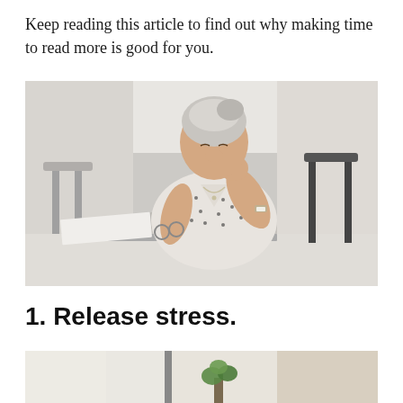Keep reading this article to find out why making time to read more is good for you.
[Figure (photo): Older woman with white/gray hair sitting at a desk with a laptop, holding her glasses and pinching the bridge of her nose, looking stressed or fatigued. Office/cafeteria background with chairs and tables.]
1. Release stress.
[Figure (photo): Partial view of a bright indoor space with a small green plant and light coming through windows, bottom portion of image visible.]